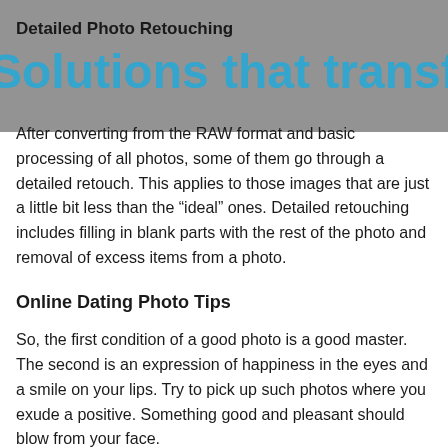Detailed Photo Retouching
After converting from the RAW format and basic processing of all photos, some of them go through a detailed retouch. This applies to those images that are just a little bit less than the “ideal” ones. Detailed retouching includes filling in blank parts with the rest of the photo and removal of excess items from a photo.
Online Dating Photo Tips
So, the first condition of a good photo is a good master. The second is an expression of happiness in the eyes and a smile on your lips. Try to pick up such photos where you exude a positive. Something good and pleasant should blow from your face.
What should be shown in the photo?
When choosing a photo for a dating site, you should take a good quality snapshot. You should be alone in